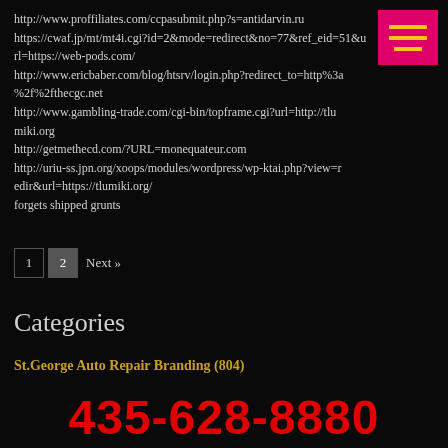http://www.proffiliates.com/ccpasubmit.php?s=antidarvin.ru
https://cwaf.jp/mt/mt4i.cgi?id=2&mode=redirect&no=77&ref_eid=51&url=https://web-pods.com/
http://www.ericbaber.com/blog/htsrv/login.php?redirect_to=http%3a%2f%2fthecgc.net
http://www.gambling-trade.com/cgi-bin/topframe.cgi?url=http://tlumiki.org
http://getmethecd.com/?URL=monequateur.com
http://uriu-ss.jpn.org/xoops/modules/wordpress/wp-ktai.php?view=redir&url=https://tlumiki.org/
forgets shipped grunts
1
2
Next »
Categories
St.George Auto Repair Branding (804)
Clients (811)
435-628-8880